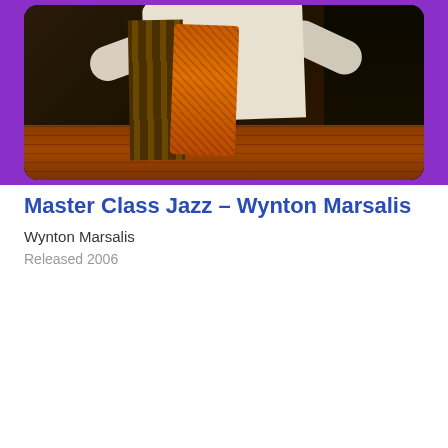[Figure (photo): Performance photo of Wynton Marsalis on stage wearing a patterned vest and white shirt, with stage lighting and wooden stage floor visible]
Master Class Jazz – Wynton Marsalis
Wynton Marsalis
Released 2006
[Figure (illustration): Album cover art for 'Listen to the Storyteller: A Trio of Musical Tales from Around the World' — purple background with stars, large red circle/planet, white bold text, golden subtitle text, and colorful bird/creature illustrations flying around]